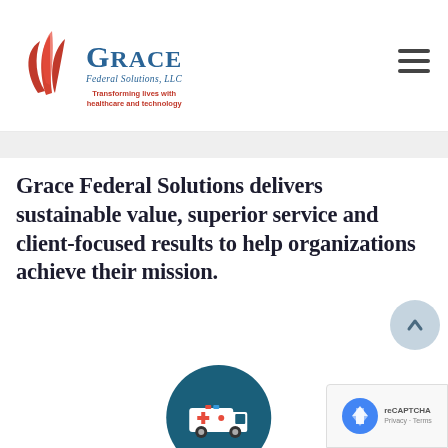[Figure (logo): Grace Federal Solutions, LLC logo with red decorative leaf/flame icon, blue company name text, and red tagline 'Transforming lives with healthcare and technology']
Grace Federal Solutions delivers sustainable value, superior service and client-focused results to help organizations achieve their mission.
[Figure (illustration): Teal/dark blue circle with white ambulance/medical vehicle icon, partially visible at bottom center of page]
[Figure (other): Google reCAPTCHA badge in lower right corner showing reCAPTCHA logo with 'Privacy - Terms' text]